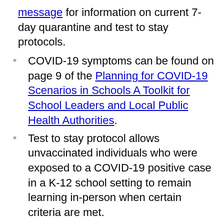message for information on current 7-day quarantine and test to stay protocols.
COVID-19 symptoms can be found on page 9 of the Planning for COVID-19 Scenarios in Schools A Toolkit for School Leaders and Local Public Health Authorities.
Test to stay protocol allows unvaccinated individuals who were exposed to a COVID-19 positive case in a K-12 school setting to remain learning in-person when certain criteria are met.
If a quarantine is called for, prioritize a shortened seven day quarantine option. This means that when a close contact remains symptom free and tests negative at 5-7 days after exposures, they may return to